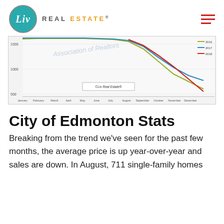[Figure (logo): Liv Real Estate logo with teal circle and grey/orange brand text]
[Figure (line-chart): Partial line chart showing monthly data for 2016 (olive/green), 2017 (blue), and 2018 (red) lines, with values roughly between 500 and 1500+, x-axis months January through December, y-axis gridlines at 500, 1000, 1500. Lines converge and descend from August through December. Watermark: Association of Realtors. Branding: © Liv Real Estate ®]
City of Edmonton Stats
Breaking from the trend we've seen for the past few months, the average price is up year-over-year and sales are down. In August, 711 single-family homes